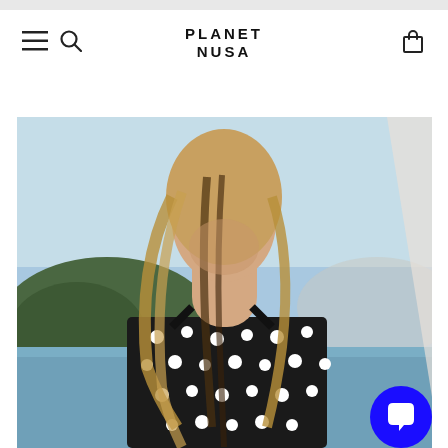[Figure (screenshot): Planet Nusa e-commerce website screenshot showing navigation header with hamburger menu, search icon, Planet Nusa logo, and cart icon, followed by a hero product photo of a blonde woman wearing a black and white polka dot swimsuit on a boat with mountains in background. A blue chat bubble icon is visible in the lower right corner.]